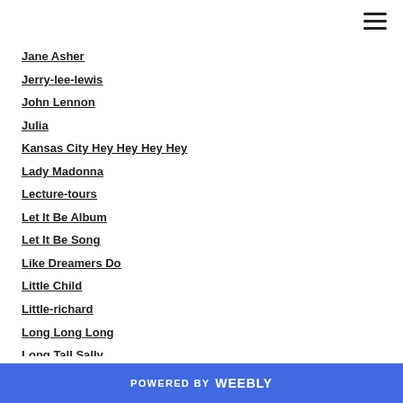Jane Asher
Jerry-lee-lewis
John Lennon
Julia
Kansas City Hey Hey Hey Hey
Lady Madonna
Lecture-tours
Let It Be Album
Let It Be Song
Like Dreamers Do
Little Child
Little-richard
Long Long Long
Long Tall Sally
Lonnie Donegan
POWERED BY weebly